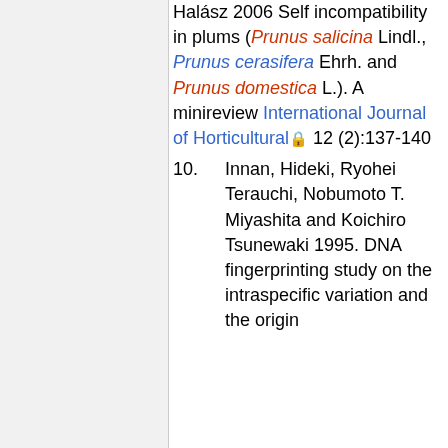Halász 2006 Self incompatibility in plums (Prunus salicina Lindl., Prunus cerasifera Ehrh. and Prunus domestica L.). A minireview International Journal of Horticultural 🔒 12 (2):137-140
10. Innan, Hideki, Ryohei Terauchi, Nobumoto T. Miyashita and Koichiro Tsunewaki 1995. DNA fingerprinting study on the intraspecific variation and the origin